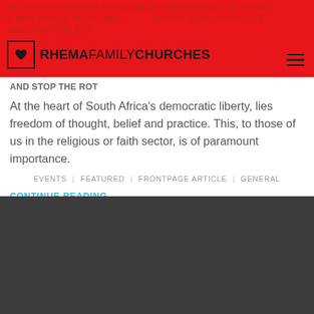RHEMA FAMILY CHURCHES
RELIGIOUS LEADERS HAS NOW AN OPPORTUNITY TO CHART A NEW FAMILY CHURCHES OTHER ACCOUNTABILITY AND STOP THE ROT At the heart of South Africa's democratic liberty, lies freedom of thought, belief and practice. This, to those of us in the religious or faith sector, is of paramount importance.
EVENTS | FEATURED | FRONTPAGE ARTICLE | GENERAL
CONTINUE READING